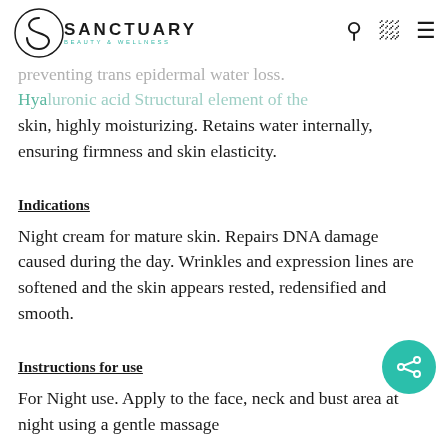SANCTUARY BEAUTY & WELLNESS
preventing trans epidermal water loss.
Hyaluronic acid Structural element of the skin, highly moisturizing. Retains water internally, ensuring firmness and skin elasticity.
Indications
Night cream for mature skin. Repairs DNA damage caused during the day. Wrinkles and expression lines are softened and the skin appears rested, redensified and smooth.
Instructions for use
For Night use. Apply to the face, neck and bust area at night using a gentle massage